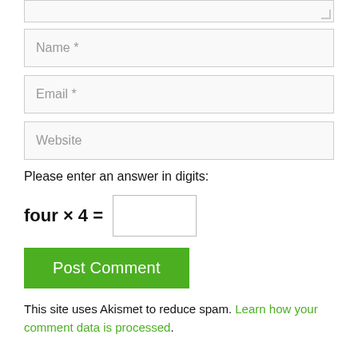[Figure (screenshot): Partial textarea input field at top of page with resize handle visible at bottom-right corner]
[Figure (screenshot): Text input field with placeholder text 'Name *']
[Figure (screenshot): Text input field with placeholder text 'Email *']
[Figure (screenshot): Text input field with placeholder text 'Website']
Please enter an answer in digits:
[Figure (screenshot): Green 'Post Comment' button]
This site uses Akismet to reduce spam. Learn how your comment data is processed.